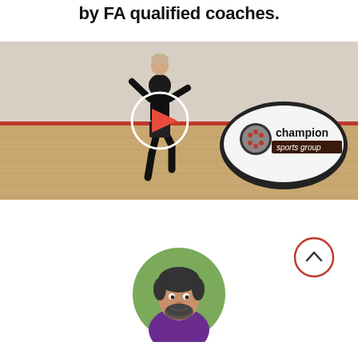by FA qualified coaches.
[Figure (photo): A boy performing a football/soccer agility drill in a squash court, with a Champion Sports Group branded banner in the background. A white circle with a red play button is overlaid in the center of the image.]
[Figure (other): A scroll-to-top button: red circle outline with an upward-pointing chevron inside.]
[Figure (photo): Circular profile photo of a smiling man with dark hair and a beard, wearing a purple polo shirt.]